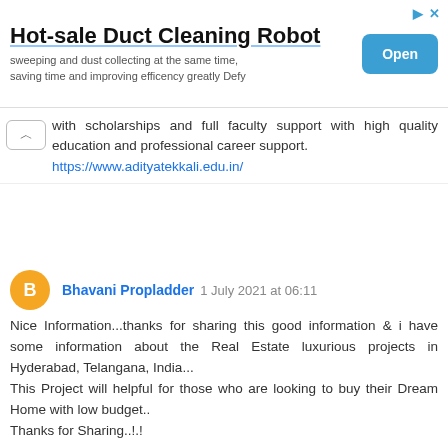[Figure (other): Advertisement banner for Hot-sale Duct Cleaning Robot with Open button]
with scholarships and full faculty support with high quality education and professional career support.
https://www.adityatekkali.edu.in/
Reply
Bhavani Propladder  1 July 2021 at 06:11
Nice Information...thanks for sharing this good information & i have some information about the Real Estate luxurious projects in Hyderabad, Telangana, India...
This Project will helpful for those who are looking to buy their Dream Home with low budget..
Thanks for Sharing..!.!
Ambience Courtyard
The Botanika
Sumadhura Horizon